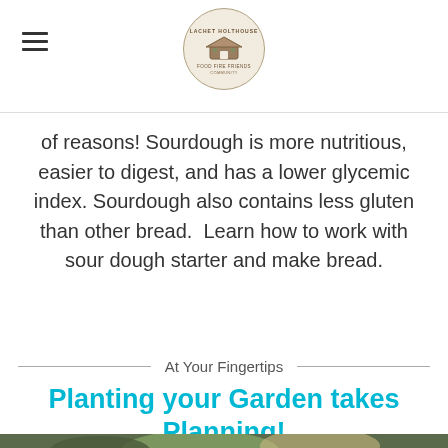Logo / navigation header with hamburger menu and site logo
of reasons! Sourdough is more nutritious, easier to digest, and has a lower glycemic index. Sourdough also contains less gluten than other bread.  Learn how to work with sour dough starter and make bread.
At Your Fingertips
Planting your Garden takes Planning!
[Figure (photo): Close-up photo of large green squash or melon growing in a garden with dark green leaves and drip irrigation tubing visible]